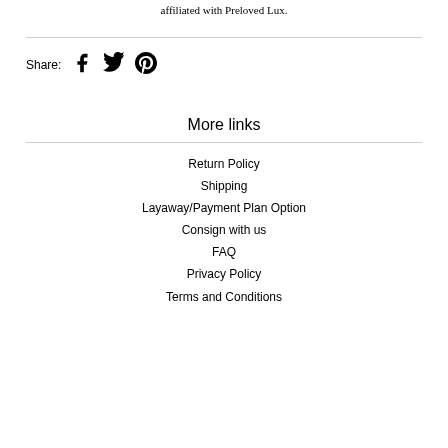affiliated with Preloved Lux.
[Figure (infographic): Share row with Facebook, Twitter, and Pinterest icons]
More links
Return Policy
Shipping
Layaway/Payment Plan Option
Consign with us
FAQ
Privacy Policy
Terms and Conditions